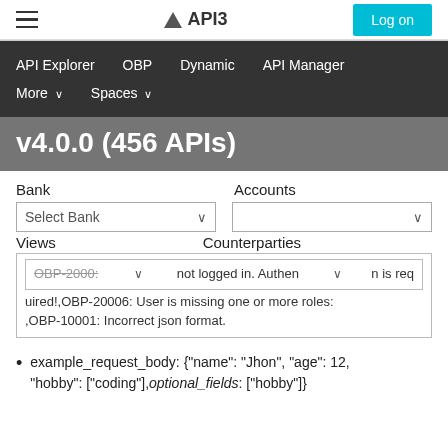▲ API3 | Log on
API Explorer  OBP  Dynamic  API Manager  More ∨  Spaces ∨
v4.0.0 (456 APIs)
Bank   Accounts
Select Bank   [dropdown]   [dropdown]
Views   Counterparties
OBP-2000: Not logged in. Authentication is required!,OBP-20006: User is missing one or more roles:,OBP-10001: Incorrect json format.
example_request_body: {"name": "Jhon", "age": 12, "hobby": ["coding"],"optional_fields": ["hobby"]}